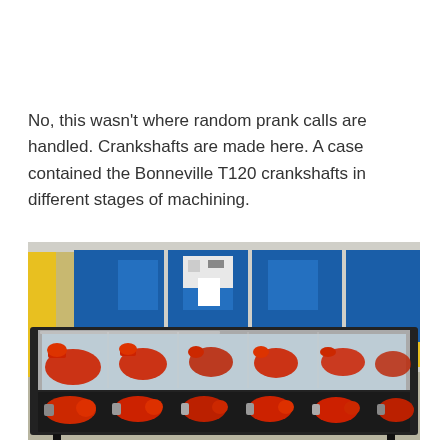No, this wasn't where random prank calls are handled. Crankshafts are made here. A case contained the Bonneville T120 crankshafts in different stages of machining.
[Figure (photo): A display case containing Bonneville T120 crankshafts in different stages of machining, painted red/orange, arranged in a transparent-lidded metal rack. In the background is a manufacturing facility with large blue industrial machines and yellow painted elements.]